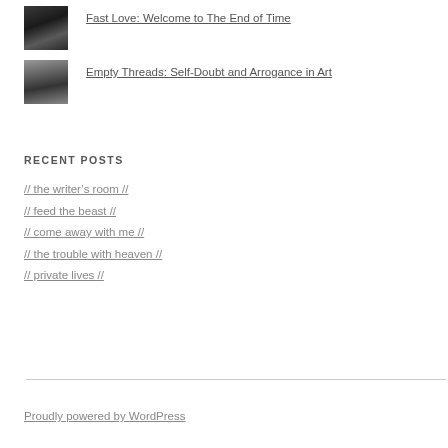[Figure (photo): Small thumbnail image of a dark scene, possibly industrial or urban]
Fast Love: Welcome to The End of Time
[Figure (photo): Small thumbnail image with a light-colored subject, possibly an animal or abstract]
Empty Threads: Self-Doubt and Arrogance in Art
RECENT POSTS
// the writer's room //
// feed the beast //
// come away with me //
// the trouble with heaven //
// private lives //
Proudly powered by WordPress